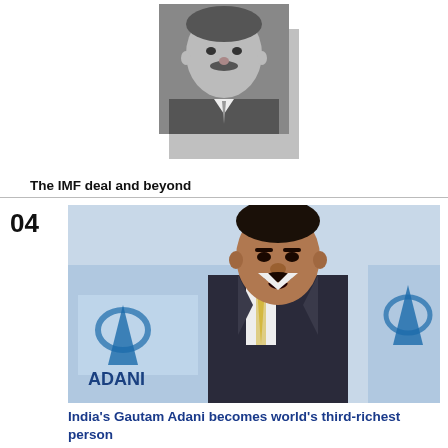[Figure (photo): Black and white portrait photo of a man in a suit with mustache, with a gray shadow box behind it]
The IMF deal and beyond
04
[Figure (photo): Color photo of Gautam Adani speaking in front of an Adani Group branded backdrop with the company logo]
India's Gautam Adani becomes world's third-richest person